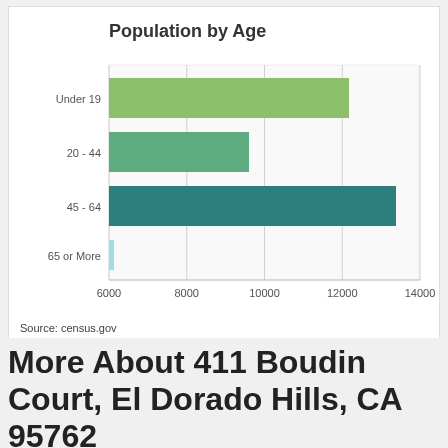[Figure (bar-chart): Population by Age]
Source: census.gov
More About 411 Boudin Court, El Dorado Hills, CA 95762
411 Boudin Court, El Dorado Hills, CA 95762 Walk